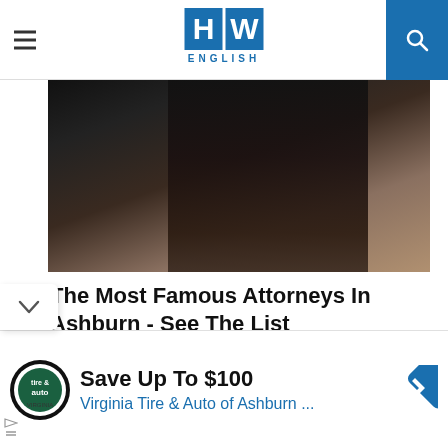HW ENGLISH
[Figure (photo): Woman with dark hair wearing a black jacket, seated, looking to the side]
The Most Famous Attorneys In Ashburn - See The List
30 Lawyers | Search Ads
[Figure (photo): Close-up of a black outdoor lantern with a light bulb against a textured stone wall]
Save Up To $100
Virginia Tire & Auto of Ashburn ...